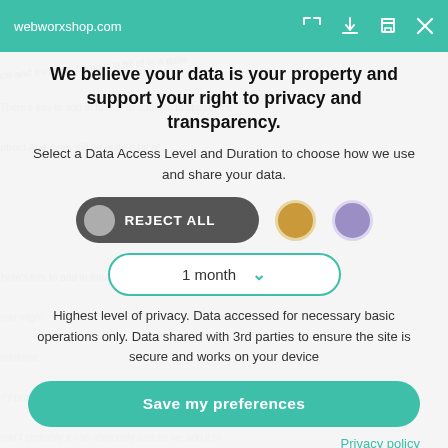webworxshop.com
We believe your data is your property and support your right to privacy and transparency.
Select a Data Access Level and Duration to choose how we use and share your data.
[Figure (infographic): Three option buttons: a dark pill-shaped REJECT ALL button with grey circle, a gold circle, and a purple circle. Below is a dropdown showing '1 month' with a teal chevron.]
Highest level of privacy. Data accessed for necessary basic operations only. Data shared with 3rd parties to ensure the site is secure and works on your device
Save my preferences
Privacy policy
Customize